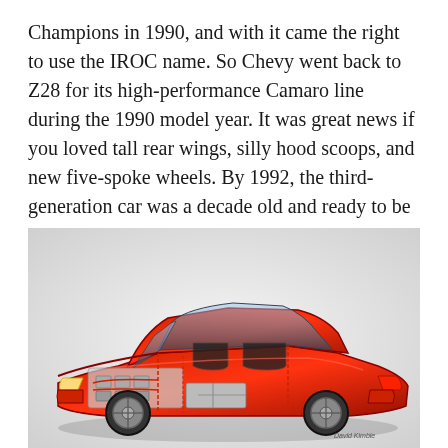Champions in 1990, and with it came the right to use the IROC name. So Chevy went back to Z28 for its high-performance Camaro line during the 1990 model year. It was great news if you loved tall rear wings, silly hood scoops, and new five-spoke wheels. By 1992, the third-generation car was a decade old and ready to be replaced.
[Figure (illustration): Cutaway technical illustration of a red Camaro (fourth generation), showing the engine, drivetrain, suspension, and interior components through a transparent body panel view. The car is shown in a three-quarter front view with detailed mechanical internals visible.]